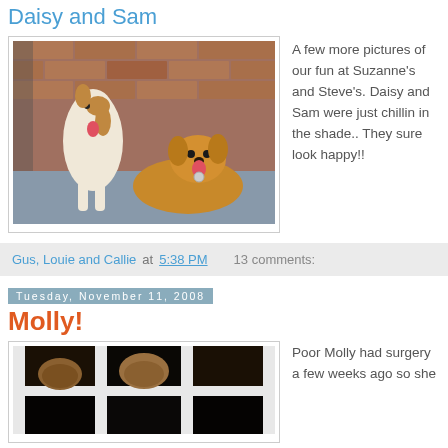Daisy and Sam
[Figure (photo): Two dogs sitting against a brick wall — a white and brown dog standing and a golden/tan dog lying down, both appear happy]
A few more pictures of our fun at Suzanne's and Steve's. Daisy and Sam were just chillin in the shade.. They sure look happy!!
Gus, Louie and Callie at 5:38 PM    13 comments:
Tuesday, November 11, 2008
Molly!
[Figure (photo): Photo of Molly the cat or dog looking through glass door panels]
Poor Molly had surgery a few weeks ago so she